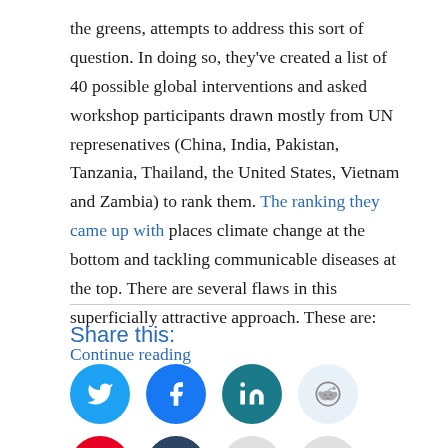the greens, attempts to address this sort of question. In doing so, they've created a list of 40 possible global interventions and asked workshop participants drawn mostly from UN represenatives (China, India, Pakistan, Tanzania, Thailand, the United States, Vietnam and Zambia) to rank them. The ranking they came up with places climate change at the bottom and tackling communicable diseases at the top. There are several flaws in this superficially attractive approach. These are:
Continue reading
Share this: